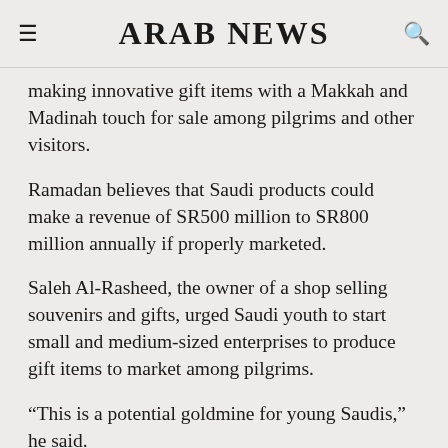ARAB NEWS
making innovative gift items with a Makkah and Madinah touch for sale among pilgrims and other visitors.
Ramadan believes that Saudi products could make a revenue of SR500 million to SR800 million annually if properly marketed.
Saleh Al-Rasheed, the owner of a shop selling souvenirs and gifts, urged Saudi youth to start small and medium-sized enterprises to produce gift items to market among pilgrims.
“This is a potential goldmine for young Saudis,” he said.
“It can also create more seasonal jobs for Saudis